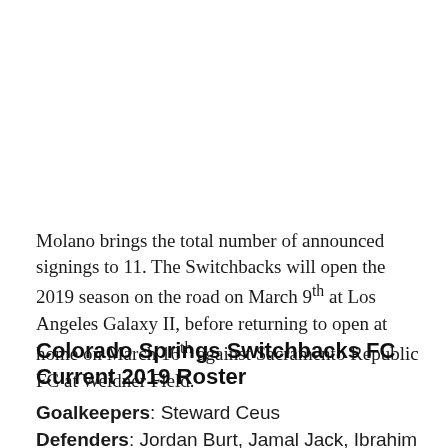Molano brings the total number of announced signings to 11. The Switchbacks will open the 2019 season on the road on March 9th at Los Angeles Galaxy II, before returning to open at home on March 16th against Sacramento Republic FC at Weidner Field.
Colorado Springs Switchbacks FC Current 2019 Roster
Goalkeepers: Steward Ceus
Defenders: Jordan Burt, Jamal Jack, Ibrahim Yaro